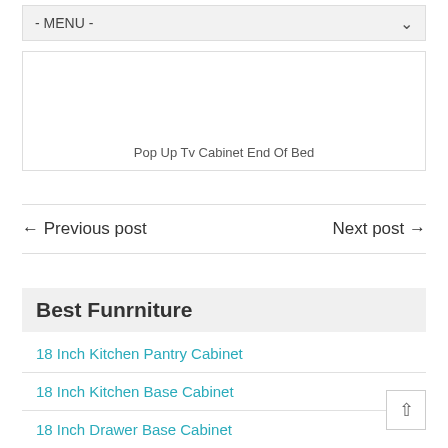[Figure (screenshot): Navigation menu dropdown bar with text '- MENU -' and a down arrow on the right]
[Figure (screenshot): Image placeholder box with caption 'Pop Up Tv Cabinet End Of Bed']
Pop Up Tv Cabinet End Of Bed
← Previous post    Next post →
Best Funrniture
18 Inch Kitchen Pantry Cabinet
18 Inch Kitchen Base Cabinet
18 Inch Drawer Base Cabinet
18 Inch Depth Base Kitchen Cabinet